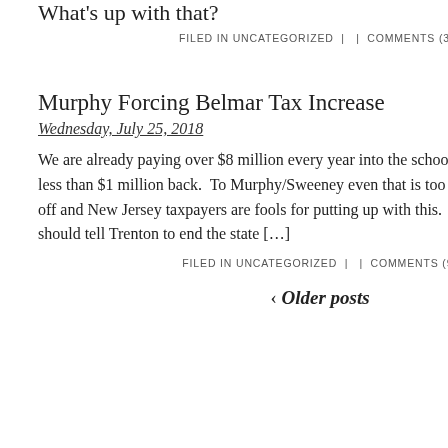What's up with that?
FILED IN UNCATEGORIZED | | COMMENTS (33)
Murphy Forcing Belmar Tax Increase
Wednesday, July 25, 2018
We are already paying over $8 million every year into the school aid fund and getting less than $1 million back. To Murphy/Sweeney even that is too much. This is a total rip off and New Jersey taxpayers are fools for putting up with this. We…I mean you…should tell Trenton to end the state […]
FILED IN UNCATEGORIZED | | COMMENTS (9)
‹ Older posts
November
October
September
August 2
July 201
June 201
May 201
April 20
March 2
February
January
December
November
October
September
August 2
July 201
June 201
May 201
April 20
March 2